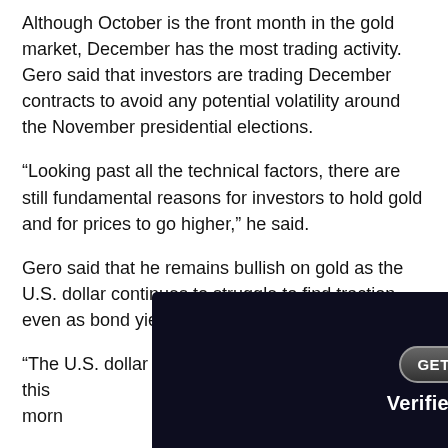Although October is the front month in the gold market, December has the most trading activity. Gero said that investors are trading December contracts to avoid any potential volatility around the November presidential elections.
"Looking past all the technical factors, there are still fundamental reasons for investors to hold gold and for prices to go higher," he said.
Gero said that he remains bullish on gold as the U.S. dollar continues to struggle to find traction, even as bond yields hold near a one-month high.
"The U.S. dollar [index] pushed below 93 points this morn... izon,"
[Figure (other): Advertisement banner overlay: GET STARTED button, KITCO MEDIA logo, THE BETTER TRADERS logo, V logo, VerifiedInvestingEducation.com, Sponsored by: BYBIT]
The U... wn 0.25%...
Along with a weak U.S. dollar, Gero said that he expects...